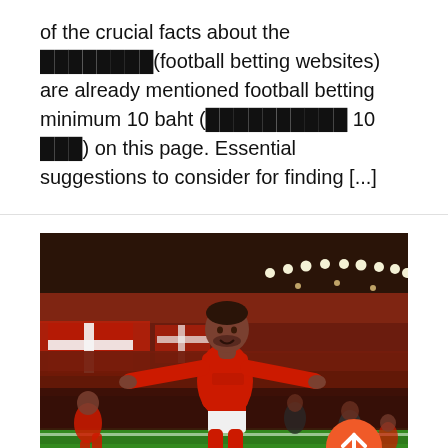of the crucial facts about the 🀫🀫🀫🀫🀫🀫🀫🀫(football betting websites) are already mentioned football betting minimum 10 baht (🀫🀫🀫🀫🀫🀫🀫🀫🀫🀫 10 🀫🀫🀫) on this page. Essential suggestions to consider for finding [...]
[Figure (photo): A football player in a red Liverpool kit celebrating on the pitch with arms outstretched. Stadium crowd in background, green pitch in foreground. A circular orange scroll-to-top button is overlaid in the bottom right.]